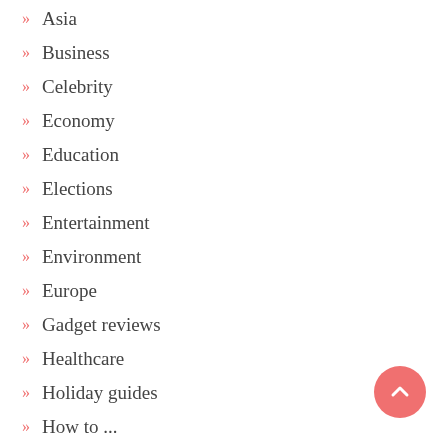Asia
Business
Celebrity
Economy
Education
Elections
Entertainment
Environment
Europe
Gadget reviews
Healthcare
Holiday guides
How to ...
Immigration
Middle East